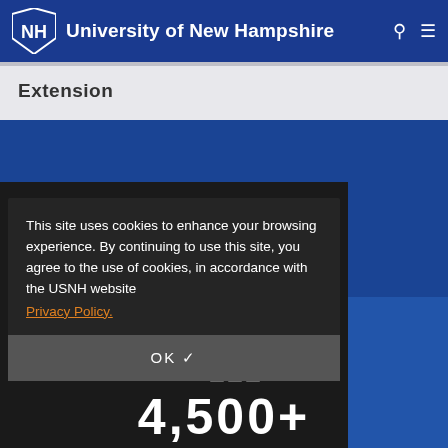University of New Hampshire
Extension
This site uses cookies to enhance your browsing experience. By continuing to use this site, you agree to the use of cookies, in accordance with the USNH website Privacy Policy.
OK ✓
4,500+